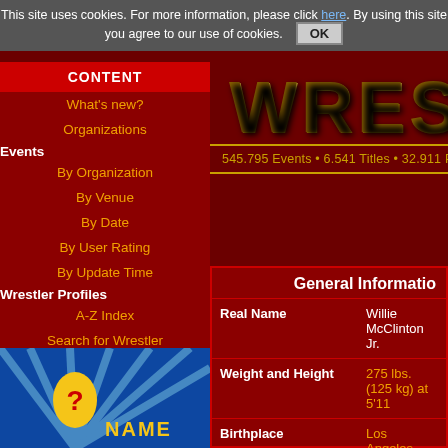This site uses cookies. For more information, please click here. By using this site you agree to our use of cookies. OK
CONTENT
What's new?
Organizations
Events
By Organization
By Venue
By Date
By User Rating
By Update Time
Wrestler Profiles
A-Z Index
Search for Wrestler
Statistics
By Promotion
By Area
Special Statistics
WREST
545.795 Events • 6.541 Titles • 32.911 Profiles • 11.93
|  | General Information |
| --- | --- |
| Real Name | Willie McClinton Jr. |
| Weight and Height | 275 lbs. (125 kg) at 5'11 |
| Birthplace | Los Angeles, California (U |